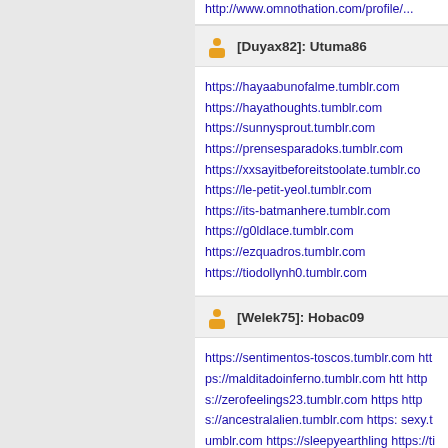http://www.omnothation.com/profile/...
[Duyax82]: Utuma86
https://hayaabunofalme.tumblr.com
https://hayathoughts.tumblr.com
https://sunnysprout.tumblr.com
https://prensesparadoks.tumblr.com
https://xxsayitbeforeitstoolate.tumblr.com
https://le-petit-yeol.tumblr.com
https://its-batmanhere.tumblr.com
https://g0ldlace.tumblr.com
https://ezquadros.tumblr.com
https://tiodollynh0.tumblr.com
[Welek75]: Hobac09
https://sentimentos-toscos.tumblr.com https://malditadoinferno.tumblr.com htt https://zerofeelings23.tumblr.com https https://ancestralalien.tumblr.com https: sexy.tumblr.com https://sleepyearthling https://timetomakechimmyfuckingchan
[Iheto99]: Haram01